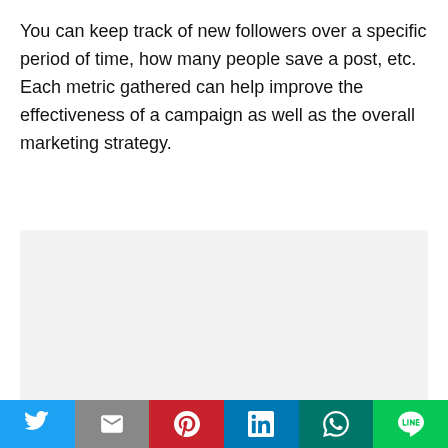You can keep track of new followers over a specific period of time, how many people save a post, etc. Each metric gathered can help improve the effectiveness of a campaign as well as the overall marketing strategy.
[Figure (other): Gray rectangular placeholder box for an image or advertisement]
Social share bar with icons: Twitter, Gmail, Pinterest, LinkedIn, WhatsApp, LINE